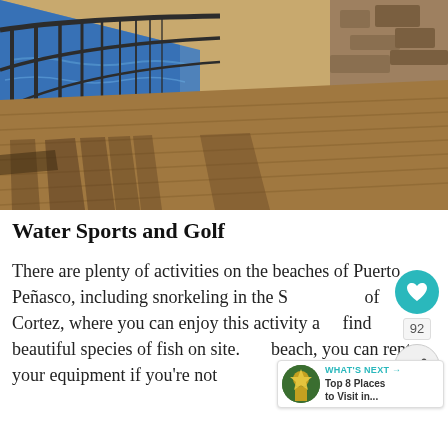[Figure (photo): A wooden boardwalk/pier with metal railings on the left side, with ocean visible, stretching into the distance under bright sunlight with strong shadows.]
Water Sports and Golf
There are plenty of activities on the beaches of Puerto Peñasco, including snorkeling in the Sea of Cortez, where you can enjoy this activity and find beautiful species of fish on site. On the beach, you can rent your equipment if you're not bringing your own. If snorkeling is not to your...